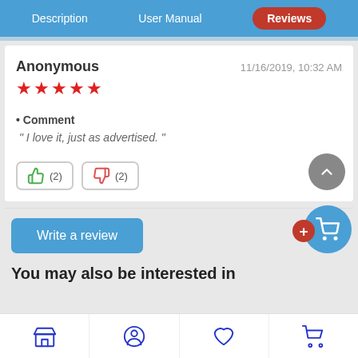Description | User Manual | Reviews (active)
Anonymous   11/16/2019, 10:32 AM
★★★★★
Comment
" I love it, just as advertised. "
[Figure (other): Thumbs up vote button with count (2) and thumbs down vote button with count (2)]
[Figure (other): Scroll to top circular button (grey, chevron up icon)]
Write a review
[Figure (other): Add to cart floating action button (blue circle with cart icon, red plus badge)]
You may also be interested in
Bottom navigation bar: Store | Account | Wishlist | Cart